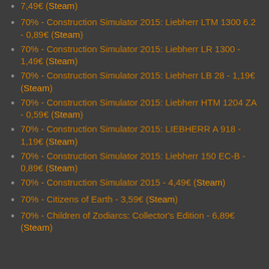7,49€ (Steam)
70% - Construction Simulator 2015: Liebherr LTM 1300 6.2 - 0,89€ (Steam)
70% - Construction Simulator 2015: Liebherr LR 1300 - 1,49€ (Steam)
70% - Construction Simulator 2015: Liebherr LB 28 - 1,19€ (Steam)
70% - Construction Simulator 2015: Liebherr HTM 1204 ZA - 0,59€ (Steam)
70% - Construction Simulator 2015: LIEBHERR A 918 - 1,19€ (Steam)
70% - Construction Simulator 2015: Liebherr 150 EC-B - 0,89€ (Steam)
70% - Construction Simulator 2015 - 4,49€ (Steam)
70% - Citizens of Earth - 3,59€ (Steam)
70% - Children of Zodiarcs: Collector's Edition - 6,89€ (Steam)